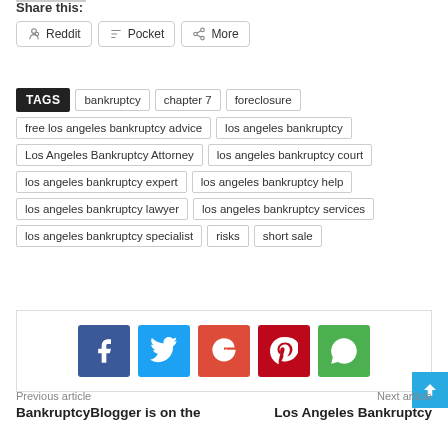Share this:
Reddit
Pocket
More
TAGS  bankruptcy  chapter 7  foreclosure  free los angeles bankruptcy advice  los angeles bankruptcy  Los Angeles Bankruptcy Attorney  los angeles bankruptcy court  los angeles bankruptcy expert  los angeles bankruptcy help  los angeles bankruptcy lawyer  los angeles bankruptcy services  los angeles bankruptcy specialist  risks  short sale
[Figure (infographic): Social sharing icons: Facebook (blue), Twitter (light blue), Google+ (red), Pinterest (dark red), WhatsApp (green)]
Previous article
Next article
BankruptcyBlogger is on the
Los Angeles Bankruptcy